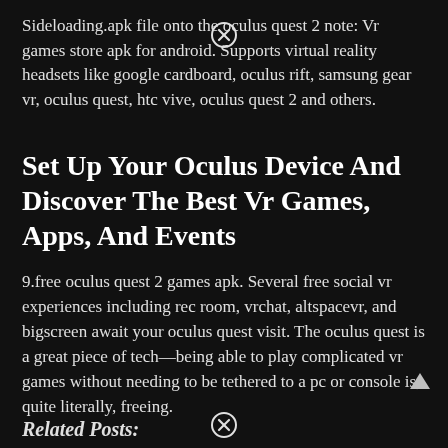Sideloading.apk file onto the oculus quest 2 note: Vr games store apk for android. Supports virtual reality headsets like google cardboard, oculus rift, samsung gear vr, oculus quest, htc vive, oculus quest 2 and others.
Set Up Your Oculus Device And Discover The Best Vr Games, Apps, And Events
9.free oculus quest 2 games apk. Several free social vr experiences including rec room, vrchat, altspacevr, and bigscreen await your oculus quest visit. The oculus quest is a great piece of tech—being able to play complicated vr games without needing to be tethered to a pc or console is, quite literally, freeing.
Related Posts: